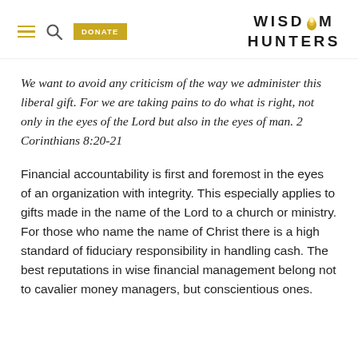WISDOM HUNTERS
We want to avoid any criticism of the way we administer this liberal gift. For we are taking pains to do what is right, not only in the eyes of the Lord but also in the eyes of man. 2 Corinthians 8:20-21
Financial accountability is first and foremost in the eyes of an organization with integrity. This especially applies to gifts made in the name of the Lord to a church or ministry. For those who name the name of Christ there is a high standard of fiduciary responsibility in handling cash. The best reputations in wise financial management belong not to cavalier money managers, but conscientious ones.